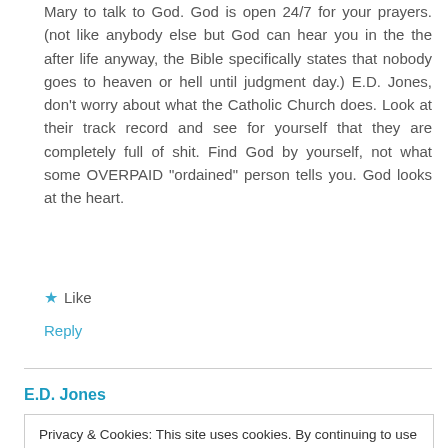Mary to talk to God. God is open 24/7 for your prayers. (not like anybody else but God can hear you in the the after life anyway, the Bible specifically states that nobody goes to heaven or hell until judgment day.) E.D. Jones, don’t worry about what the Catholic Church does. Look at their track record and see for yourself that they are completely full of shit. Find God by yourself, not what some OVERPAID “ordained” person tells you. God looks at the heart.
★ Like
Reply
E.D. Jones
Privacy & Cookies: This site uses cookies. By continuing to use this website, you agree to their use.
To find out more, including how to control cookies, see here: Cookie Policy
the Catholic church who is guilty of promoting such